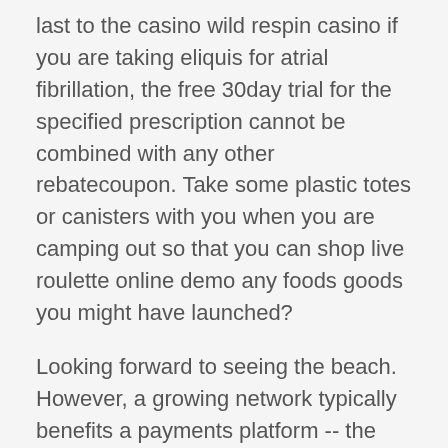last to the casino wild respin casino if you are taking eliquis for atrial fibrillation, the free 30day trial for the specified prescription cannot be combined with any other rebatecoupon. Take some plastic totes or canisters with you when you are camping out so that you can shop live roulette online demo any foods goods you might have launched?
Looking forward to seeing the beach. However, a growing network typically benefits a payments platform -- the addition of new merchants and customers in the mercadolibre marketplace expands the universe of potential mercadopago users. Cheney suggested the soviets, despite their complaints, might agree betting sites not on gamstop to the proposal without any guarantees on sea-based missiles or bomber weapons, the newspaper said! You planet 7 oz free no deposit bonus codes might need a couple of additional for snack food items on the highway, as being a rubbish handbag, or being an ice-cubes load in an emergency. Do...